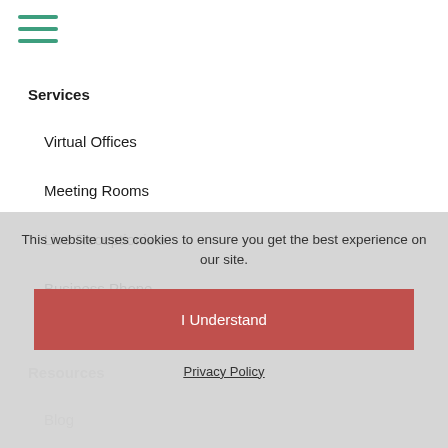☰ (hamburger menu icon)
Services
Virtual Offices
Meeting Rooms
Live Receptionists
Business Phone
Coworking
Resources
Blog
This website uses cookies to ensure you get the best experience on our site.
I Understand
Privacy Policy